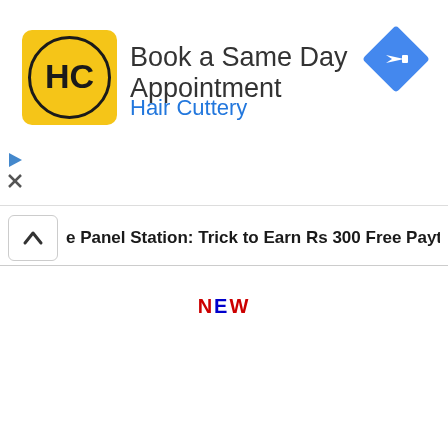[Figure (screenshot): Hair Cuttery advertisement banner with yellow HC logo, 'Book a Same Day Appointment' headline, 'Hair Cuttery' subtitle in blue, and a blue navigation icon on the right. Small play and X controls on left side.]
e Panel Station: Trick to Earn Rs 300 Free Paytm Cash Easily
NEW